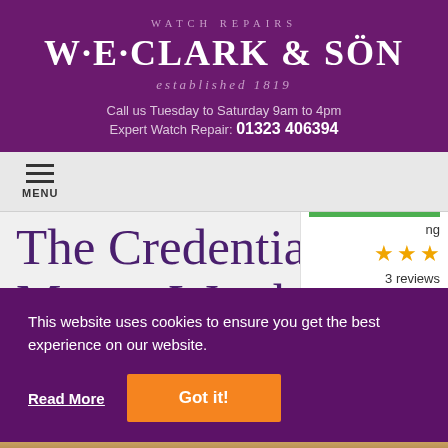WATCH REPAIRS
W·E·CLARK & SÖN
established 1819
Call us Tuesday to Saturday 9am to 4pm
Expert Watch Repair: 01323 406394
MENU
The Credentials of a Master Watchmaker
This website uses cookies to ensure you get the best experience on our website.
Read More
Got it!
[Figure (other): Star rating widget showing 3 orange stars and '3 reviews' with green accent bar]
[Figure (photo): Bottom strip showing close-up of watch repair work, warm brown tones]